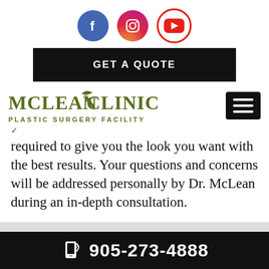[Figure (logo): Social media icons: Facebook (blue circle with f), Instagram (gradient circle with camera), YouTube (white/red circle with play button)]
[Figure (other): GET A QUOTE black button]
[Figure (logo): McLean Clinic Plastic Surgery Facility logo with olive/green text and decorative leaf graphic]
required to give you the look you want with the best results. Your questions and concerns will be addressed personally by Dr. McLean during an in-depth consultation.
905-273-4888